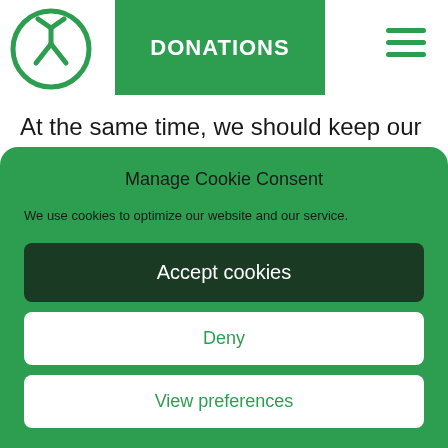[Figure (logo): Circular green logo with stylized person/Y shape inside]
DONATIONS
[Figure (other): Hamburger menu icon (three horizontal lines) in green]
At the same time, we should keep our commitment to work with people who believe in democracy and cooperatively
Manage Cookie Consent
We use cookies to optimize our website and our service.
Accept cookies
Deny
View preferences